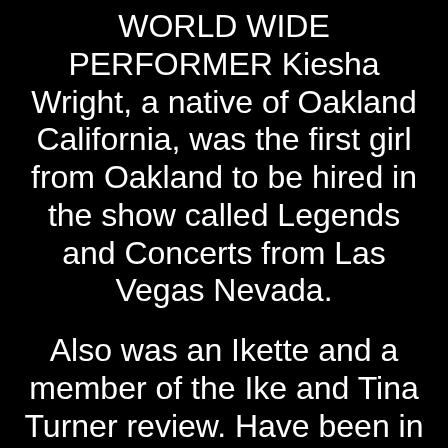WORLD WIDE PERFORMER Kiesha Wright, a native of Oakland California, was the first girl from Oakland to be hired in the show called Legends and Concerts from Las Vegas Nevada.
Also was an Ikette and a member of the Ike and Tina Turner review. Have been in many TV shows from Oakland CA to South Africa,